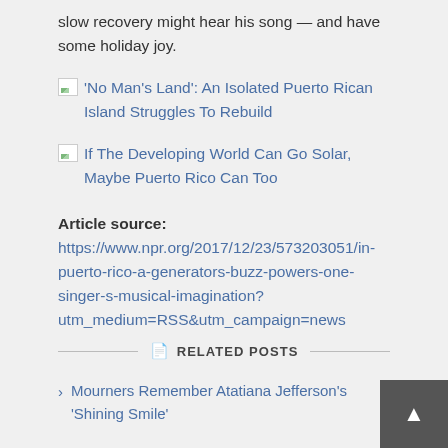slow recovery might hear his song — and have some holiday joy.
'No Man's Land': An Isolated Puerto Rican Island Struggles To Rebuild
If The Developing World Can Go Solar, Maybe Puerto Rico Can Too
Article source: https://www.npr.org/2017/12/23/573203051/in-puerto-rico-a-generators-buzz-powers-one-singer-s-musical-imagination?utm_medium=RSS&utm_campaign=news
RELATED POSTS
Mourners Remember Atatiana Jefferson's 'Shining Smile'